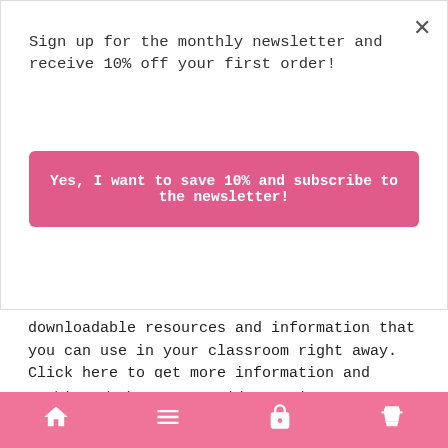Sign up for the monthly newsletter and receive 10% off your first order!
Yes, I want to save 10% and subscribe to the newsletter!
downloadable resources and information that you can use in your classroom right away. Click here to get more information and sign-up!
Here is a quick overview of the course to get you excited about all the amazing things you'll learn!
Classroom Management 101
The Basics
Getting your students attention
This website uses cookies to improve your experience. We'll assume you're ok with this, but